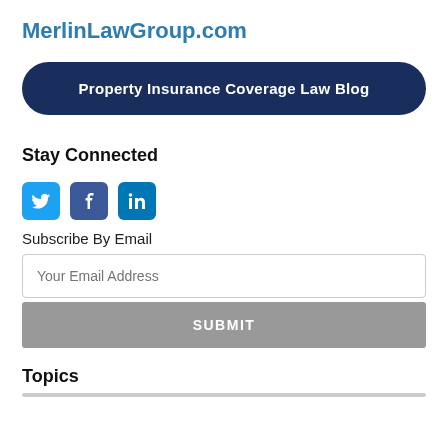MerlinLawGroup.com
[Figure (other): Dark navy blue rounded button/banner reading 'Property Insurance Coverage Law Blog']
Stay Connected
[Figure (infographic): Three social media icons: Twitter (blue bird), Facebook (blue f), LinkedIn (blue in)]
Subscribe By Email
Your Email Address
SUBMIT
Topics